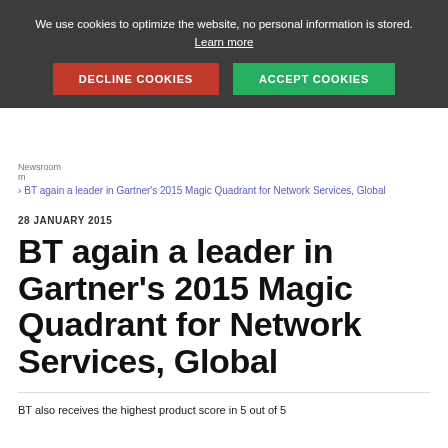We use cookies to optimize the website, no personal information is stored. Learn more
NEWSROOM | DECLINE COOKIES | ACCEPT COOKIES
Newsroom m
BT again a leader in Gartner's 2015 Magic Quadrant for Network Services, Global
28 JANUARY 2015
BT again a leader in Gartner's 2015 Magic Quadrant for Network Services, Global
BT also receives the highest product score in 5 out of 5